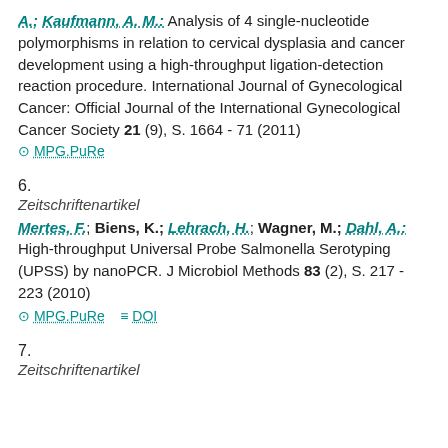A.; Kaufmann, A. M.: Analysis of 4 single-nucleotide polymorphisms in relation to cervical dysplasia and cancer development using a high-throughput ligation-detection reaction procedure. International Journal of Gynecological Cancer: Official Journal of the International Gynecological Cancer Society 21 (9), S. 1664 - 71 (2011)
MPG.PuRe
6.
Zeitschriftenartikel
Mertes, F.; Biens, K.; Lehrach, H.; Wagner, M.; Dahl, A.: High-throughput Universal Probe Salmonella Serotyping (UPSS) by nanoPCR. J Microbiol Methods 83 (2), S. 217 - 223 (2010)
MPG.PuRe   DOI
7.
Zeitschriftenartikel